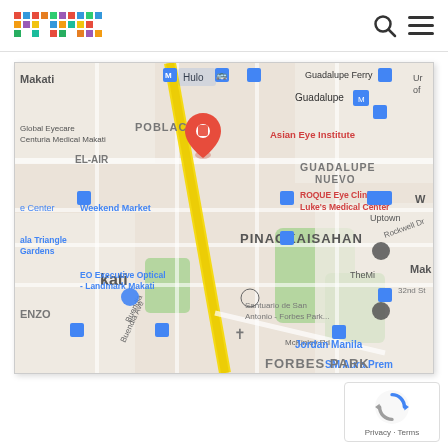primer
[Figure (map): Google Maps screenshot showing the Rockwell/Makati area in Metro Manila, Philippines. Shows landmarks including Asian Eye Institute, Guadalupe Nuevo, ROQUE Eye Clinic at St Luke's Medical Center, EO Executive Optical - Landmark Makati, Santuario de San Antonio - Forbes Park, Jordan Manila, SM Aura Premier, PINAGKAISAHAN, FORBES PARK, Weekend Market, Ayala Triangle Gardens, and a red map pin near Rockwell Dr. A yellow road (EDSA) runs diagonally. MRT bus icons visible.]
[Figure (logo): Google reCAPTCHA badge with blue circular arrow logo and Privacy - Terms text]